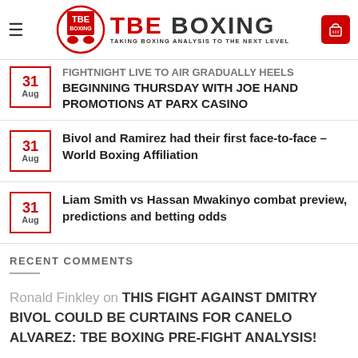TBE BOXING — TAKING BOXING ANALYSIS TO THE NEXT LEVEL
31 Aug — FIGHTNIGHT LIVE TO AIR GRADUALLY HEELS BEGINNING THURSDAY WITH JOE HAND PROMOTIONS AT PARX CASINO
31 Aug — Bivol and Ramirez had their first face-to-face – World Boxing Affiliation
31 Aug — Liam Smith vs Hassan Mwakinyo combat preview, predictions and betting odds
RECENT COMMENTS
Ronald Finkley on THIS FIGHT AGAINST DMITRY BIVOL COULD BE CURTAINS FOR CANELO ALVAREZ: TBE BOXING PRE-FIGHT ANALYSIS!